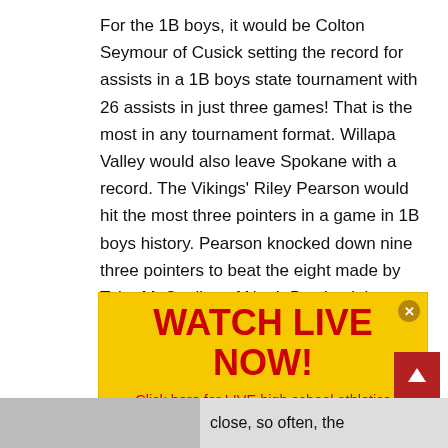For the 1B boys, it would be Colton Seymour of Cusick setting the record for assists in a 1B boys state tournament with 26 assists in just three games! That is the most in any tournament format. Willapa Valley would also leave Spokane with a record. The Vikings' Riley Pearson would hit the most three pointers in a game in 1B boys history. Pearson knocked down nine three pointers to beat the eight made by Tyler McCaulley of Neah Bay back in 2013.
[Figure (infographic): Yellow advertisement banner reading WATCH LIVE NOW! in large red bold text, with smaller red text below: Click here for LIVE high school athletics via Eli Sports on the NFHS Network!]
close, so often, the